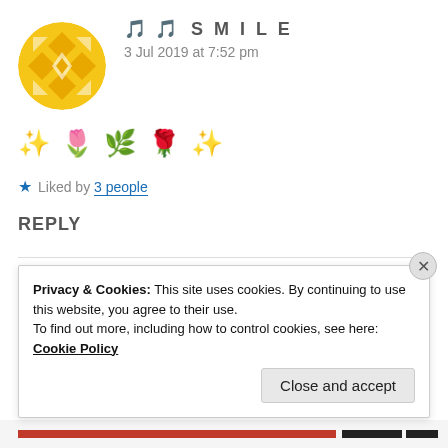[Figure (illustration): Yellow circular avatar with geometric snowflake/diamond pattern in white and orange]
🎵 🎵 S M I L E
3 Jul 2019 at 7:52 pm
✨ 🌷 🌿 🌹 ✨
★ Liked by 3 people
REPLY
[Figure (illustration): Brown circular avatar showing a person wearing a wide-brimmed hat]
ZEALOUS HOMO SAPIENS
Privacy & Cookies: This site uses cookies. By continuing to use this website, you agree to their use. To find out more, including how to control cookies, see here: Cookie Policy
Close and accept